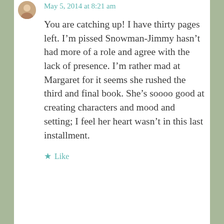May 5, 2014 at 8:21 am
You are catching up! I have thirty pages left. I’m pissed Snowman-Jimmy hasn’t had more of a role and agree with the lack of presence. I’m rather mad at Margaret for it seems she rushed the third and final book. She’s soooo good at creating characters and mood and setting; I feel her heart wasn’t in this last installment.
★ Like